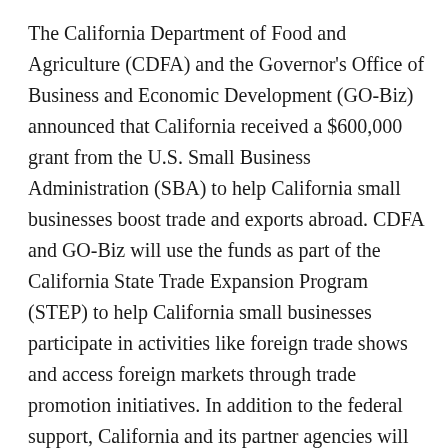The California Department of Food and Agriculture (CDFA) and the Governor's Office of Business and Economic Development (GO-Biz) announced that California received a $600,000 grant from the U.S. Small Business Administration (SBA) to help California small businesses boost trade and exports abroad. CDFA and GO-Biz will use the funds as part of the California State Trade Expansion Program (STEP) to help California small businesses participate in activities like foreign trade shows and access foreign markets through trade promotion initiatives. In addition to the federal support, California and its partner agencies will provide $323,076 in matching funds, bringing the total program funds to $923,076. CDFA and GO-Biz will work with partners including the Los Angeles Area Chamber of Commerce, Los Rios Community College District, Specialty Equipment Market Association (SEMA), and the Habacha Foundations, Sacramento California